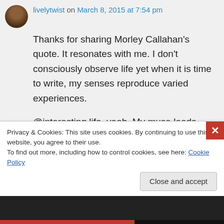livelytwist on March 8, 2015 at 7:54 pm
Thanks for sharing Morley Callahan's quote. It resonates with me. I don't consciously observe life yet when it is time to write, my senses reproduce varied experiences.
@interesting life, yeah. My muse leads what I consider an interesting life. He can tell it, but cannot write it. His experiences are sprinkled all over my blog with a lively
Privacy & Cookies: This site uses cookies. By continuing to use this website, you agree to their use.
To find out more, including how to control cookies, see here: Cookie Policy
Close and accept